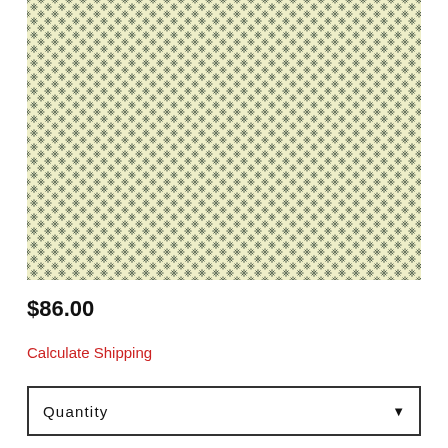[Figure (photo): Close-up photograph of a fabric with a small repeating floral/star pattern in dark blue-grey on a pale yellow/cream background.]
$86.00
Calculate Shipping
Quantity